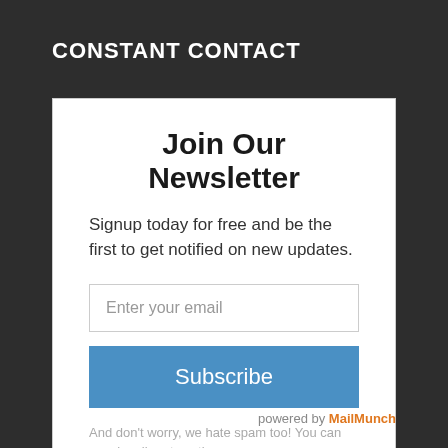CONSTANT CONTACT
Join Our Newsletter
Signup today for free and be the first to get notified on new updates.
Enter your email
Subscribe
And don't worry, we hate spam too! You can unsubscribe at anytime.
powered by MailMunch